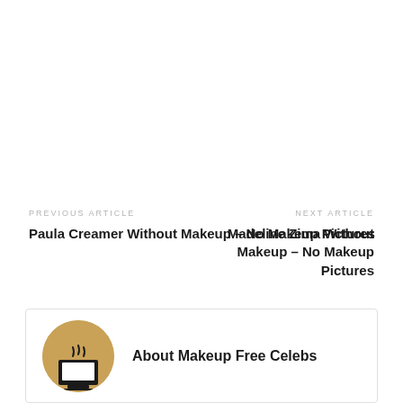PREVIOUS ARTICLE
Paula Creamer Without Makeup – No Makeup Pictures
NEXT ARTICLE
Madeline Zima Without Makeup – No Makeup Pictures
About Makeup Free Celebs
[Figure (illustration): Circular avatar icon with coffee cup and steam on tan/gold background]